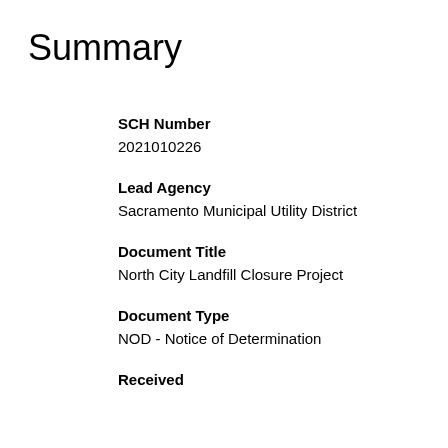Summary
SCH Number
2021010226
Lead Agency
Sacramento Municipal Utility District
Document Title
North City Landfill Closure Project
Document Type
NOD - Notice of Determination
Received